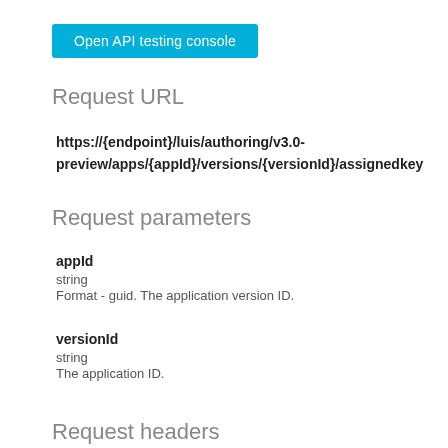[Figure (screenshot): Blue button labeled 'Open API testing console']
Request URL
https://{endpoint}/luis/authoring/v3.0-preview/apps/{appId}/versions/{versionId}/assignedkey
Request parameters
appId
string
Format - guid. The application version ID.
versionId
string
The application ID.
Request headers